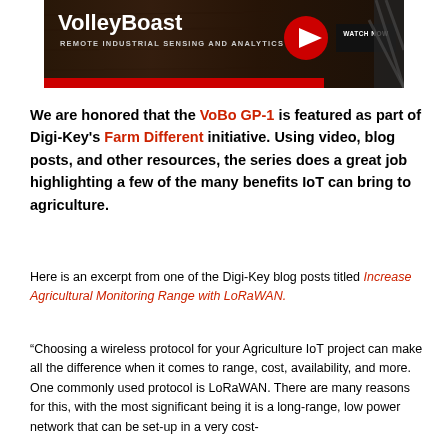[Figure (screenshot): VolleyBoast banner with dark wood-grain background, logo text 'VolleyBoast', subtitle 'REMOTE INDUSTRIAL SENSING AND ANALYTICS', a red play button circle icon, and a 'WATCH NOW' button with diagonal stripe decoration.]
We are honored that the VoBo GP-1 is featured as part of Digi-Key's Farm Different initiative. Using video, blog posts, and other resources, the series does a great job highlighting a few of the many benefits IoT can bring to agriculture.
Here is an excerpt from one of the Digi-Key blog posts titled Increase Agricultural Monitoring Range with LoRaWAN.
“Choosing a wireless protocol for your Agriculture IoT project can make all the difference when it comes to range, cost, availability, and more. One commonly used protocol is LoRaWAN. There are many reasons for this, with the most significant being it is a long-range, low power network that can be set-up in a very cost-